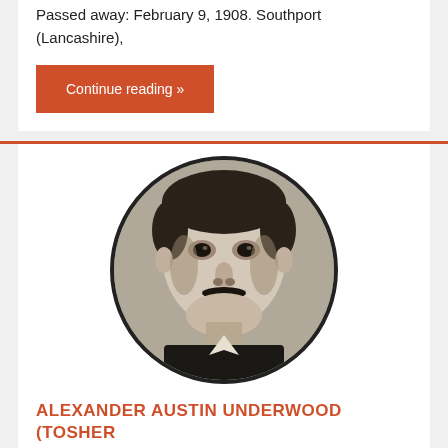Passed away: February 9, 1908. Southport (Lancashire),
Continue reading »
[Figure (photo): Black and white circular portrait photograph of Alexander Austin Underwood (Tosher), a man with a mustache.]
ALEXANDER AUSTIN UNDERWOOD (TOSHER